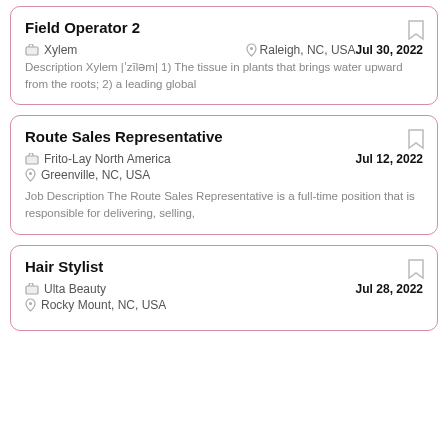Field Operator 2
Xylem   Raleigh, NC, USA   Jul 30, 2022
Description Xylem |ˈzīləm| 1) The tissue in plants that brings water upward from the roots; 2) a leading global
Route Sales Representative
Frito-Lay North America   Greenville, NC, USA   Jul 12, 2022
Job Description The Route Sales Representative is a full-time position that is responsible for delivering, selling,
Hair Stylist
Ulta Beauty   Rocky Mount, NC, USA   Jul 28, 2022